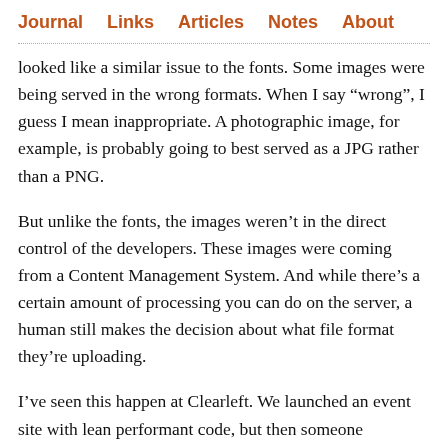Journal  Links  Articles  Notes  About
looked like a similar issue to the fonts. Some images were being served in the wrong formats. When I say “wrong”, I guess I mean inappropriate. A photographic image, for example, is probably going to best served as a JPG rather than a PNG.
But unlike the fonts, the images weren’t in the direct control of the developers. These images were coming from a Content Management System. And while there’s a certain amount of processing you can do on the server, a human still makes the decision about what file format they’re uploading.
I’ve seen this happen at Clearleft. We launched an event site with lean performant code, but then someone uploaded an image that’s megabytes in size. The solution in that case wasn’t technical. We realised there was a knowledge gap around image file formats—which, let’s face it, is kind of a